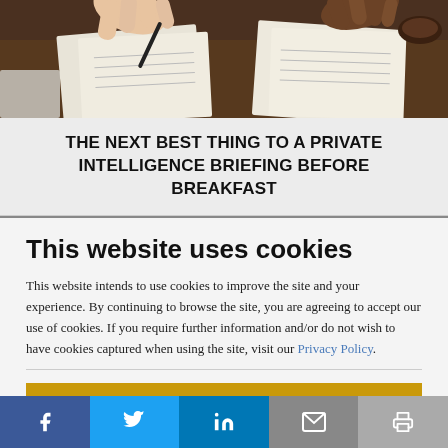[Figure (photo): Photo of people reviewing documents/charts on a table from above]
THE NEXT BEST THING TO A PRIVATE INTELLIGENCE BRIEFING BEFORE BREAKFAST
This website uses cookies
This website intends to use cookies to improve the site and your experience. By continuing to browse the site, you are agreeing to accept our use of cookies. If you require further information and/or do not wish to have cookies captured when using the site, visit our Privacy Policy.
ACCEPT COOKIES
[Figure (infographic): Social media sharing bar with Facebook, Twitter, LinkedIn, email, and print icons]